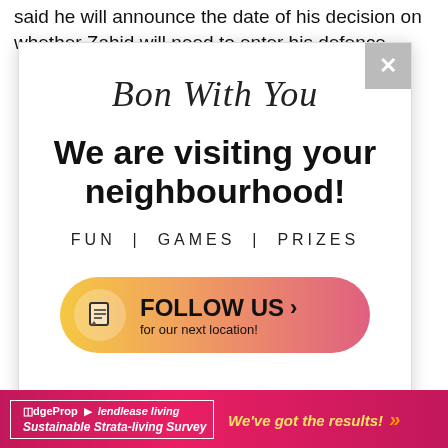said he will announce the date of his decision on whether Zahid will need to enter his defence
[Figure (infographic): Pop-up modal advertisement for 'Bon With You' campaign. Shows script text 'Bon With You', bold headline 'We are visiting your neighbourhood!', subtext 'FUN | GAMES | PRIZES', and a gradient pill button 'FOLLOW US for our next location!' with a document icon and chevron arrow. Modal has an X close button in top right corner and a CLOSE button at bottom right.]
[Figure (infographic): Bottom banner advertisement in pink/magenta gradient. Left side shows EdgeProp and Lendlease Living logos with text 'Sustainable Strata-living Survey' in a white border box. Right side shows 'We've got the results!' in yellow italic text with orange double chevrons.]